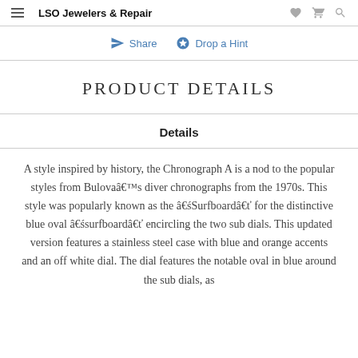LSO Jewelers & Repair
Share   Drop a Hint
Product Details
Details
A style inspired by history, the Chronograph A is a nod to the popular styles from Bulovaâ€™s diver chronographs from the 1970s. This style was popularly known as the â€śSurfboardâ€ť for the distinctive blue oval â€śsurfboardâ€ť encircling the two sub dials. This updated version features a stainless steel case with blue and orange accents and an off white dial. The dial features the notable oval in blue around the sub dials, as